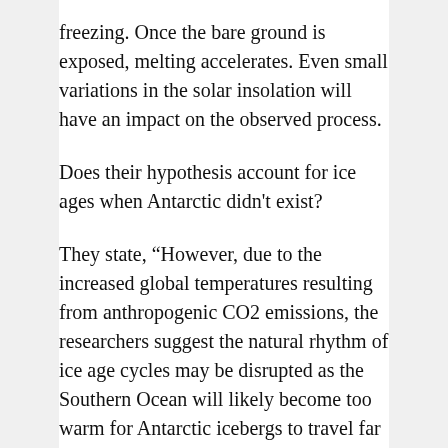freezing. Once the bare ground is exposed, melting accelerates. Even small variations in the solar insolation will have an impact on the observed process.
Does their hypothesis account for ice ages when Antarctic didn't exist?
They state, “However, due to the increased global temperatures resulting from anthropogenic CO2 emissions, the researchers suggest the natural rhythm of ice age cycles may be disrupted as the Southern Ocean will likely become too warm for Antarctic icebergs to travel far enough to trigger the changes in ocean circulation required for an ice age to develop.” Are they saying that